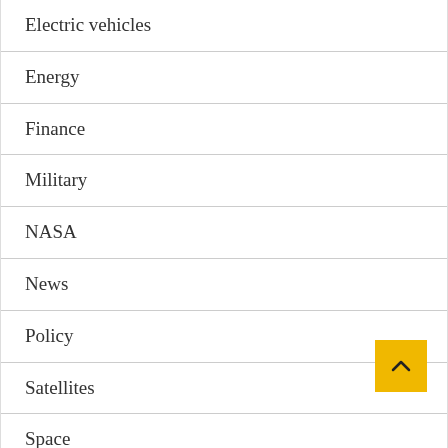Electric vehicles
Energy
Finance
Military
NASA
News
Policy
Satellites
Space
Technology